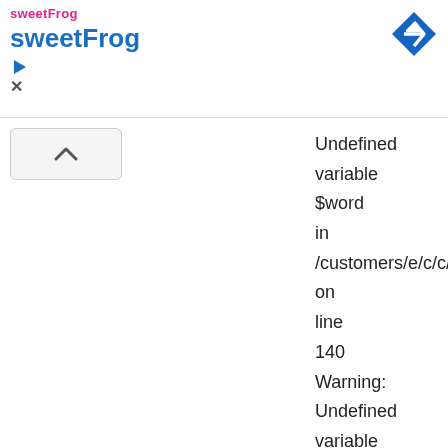sweetFrog sweetFrog
Undefined variable $word in /customers/e/c/c/everttaube.info/httpd.v on line 140 Warning: Undefined variable $word in /customers/e/c/c/everttaube.info/httpd.v on line 140 Warning: Undefined variable $word in /customers/e/c/c/everttaube.info/httpd.v on line 140 Warning: